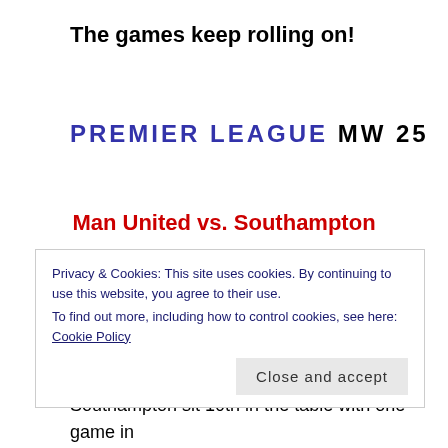The games keep rolling on!
PREMIER LEAGUE MW 25
Man United vs. Southampton
6th placed United have one game in hand and sit a point from top four. United are unbeaten in their last four but have only won two of those games. Southampton sit 10th in the table with one game in
Privacy & Cookies: This site uses cookies. By continuing to use this website, you agree to their use.
To find out more, including how to control cookies, see here: Cookie Policy
Close and accept
United. The score after two is 1-1,